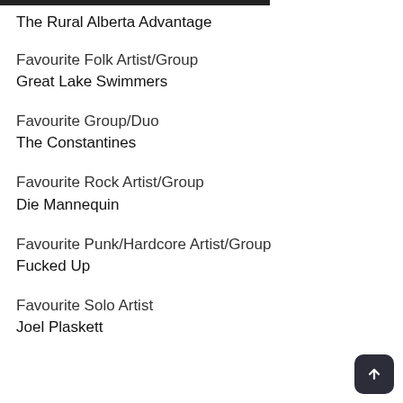The Rural Alberta Advantage
Favourite Folk Artist/Group
Great Lake Swimmers
Favourite Group/Duo
The Constantines
Favourite Rock Artist/Group
Die Mannequin
Favourite Punk/Hardcore Artist/Group
Fucked Up
Favourite Solo Artist
Joel Plaskett